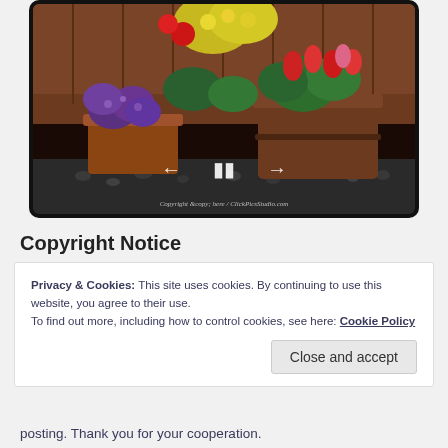[Figure (screenshot): Slideshow image of a colorful flower garden with potted flowers including purple, red, pink, and yellow blooms. Navigation controls (back arrow, pause, forward arrow) are visible at the bottom center of the image. A watermark text is at the bottom.]
Copyright Notice
Privacy & Cookies: This site uses cookies. By continuing to use this website, you agree to their use.
To find out more, including how to control cookies, see here: Cookie Policy
Close and accept
posting. Thank you for your cooperation.